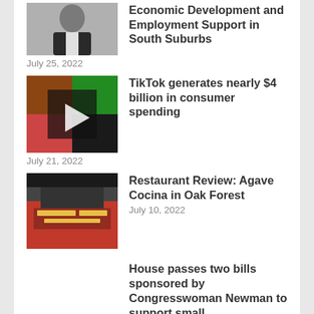[Figure (photo): Headshot of a woman in a dark blazer]
Economic Development and Employment Support in South Suburbs
July 25, 2022
[Figure (photo): Collage of food images related to TikTok consumer spending]
TikTok generates nearly $4 billion in consumer spending
July 21, 2022
[Figure (photo): Exterior of Agave Cocina restaurant in Oak Forest]
Restaurant Review: Agave Cocina in Oak Forest
July 10, 2022
House passes two bills sponsored by Congresswoman Newman to support small businesses and strengthen trade